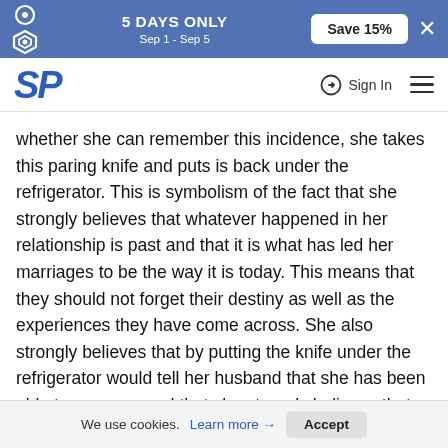5 DAYS ONLY Sep 1 - Sep 5 | Save 15%
SP | Sign In
whether she can remember this incidence, she takes this paring knife and puts is back under the refrigerator. This is symbolism of the fact that she strongly believes that whatever happened in her relationship is past and that it is what has led her marriages to be the way it is today. This means that they should not forget their destiny as well as the experiences they have come across. She also strongly believes that by putting the knife under the refrigerator would tell her husband that she has been able to move on and that she strongly believes that the arguments they ever had in their relationship only made it stronger. This was also supposed to help her husband clearly know that they are not supposed to forget what they have undergone on
We use cookies. Learn more → Accept